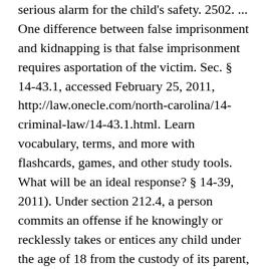serious alarm for the child's safety. 2502. ... One difference between false imprisonment and kidnapping is that false imprisonment requires asportation of the victim. Sec. § 14-43.1, accessed February 25, 2011, http://law.onecle.com/north-carolina/14-criminal-law/14-43.1.html. Learn vocabulary, terms, and more with flashcards, games, and other study tools. What will be an ideal response? § 14-39, 2011). Under section 212.4, a person commits an offense if he knowingly or recklessly takes or entices any child under the age of 18 from the custody of its parent, guardian or other lawful custodian, when he has no privilege to do so. [23], The Kenyan Penal Code categorizes kidnapping into